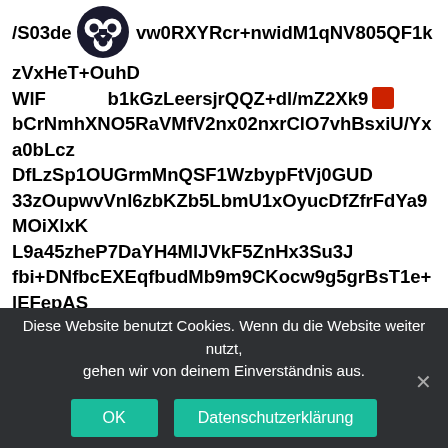/S03dervw0RXYRcr+nwidM1qNV805QF1kzVxHeT+OuhDWlF[logo]b1kGzLeersjrQQZ+dl/mZ2Xk9[red-square]bCrNmhXNO5RaVMfV2nx02nxrClO7vhBsxiU/Yxa0bLczDfLzSp1OUGrmMnQSF1WzbypFtVj0GUD33zOupwvVnl6zbKZb5LbmU1xOyucDfZfrFdYa9MOiXlxKL9a45zheP7DaYH4MlJVkF5ZnHx3Su3Jfbi+DNfbcEXEqfbudMb9m9CKocw9g5grBsT1e+lEFepASFWNraGjtsvZyU1ohlQgoi0PeqRErfLyTjdq9o4+61kHVv0lVlToHiOBSDXLcYuKCGMMxvsW/hu6keOi+rADoVYzSS3lltKV9+yYXFYS98+BMqH9RxidQtXSOjsRJ6qVTAQjZahtJpLIhJrlWtoFHQLaDvZRY5wUA5MxLrHpLDb0+edC/rk1xu9sFCNXG8XtDyxhodeQa4UfBeOBakwlCVvRhSBUBodWhmQAuFbZGWUo7RoRUXhpELOTe7X62TvrtMMS
Diese Website benutzt Cookies. Wenn du die Website weiter nutzt, gehen wir von deinem Einverständnis aus.
OK
Datenschutzerklärung